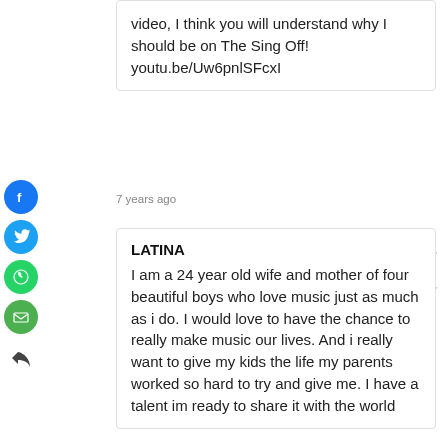video, I think you will understand why I should be on The Sing Off! youtu.be/Uw6pnlSFcxI
7 years ago
LATINA
I am a 24 year old wife and mother of four beautiful boys who love music just as much as i do. I would love to have the chance to really make music our lives. And i really want to give my kids the life my parents worked so hard to try and give me. I have a talent im ready to share it with the world